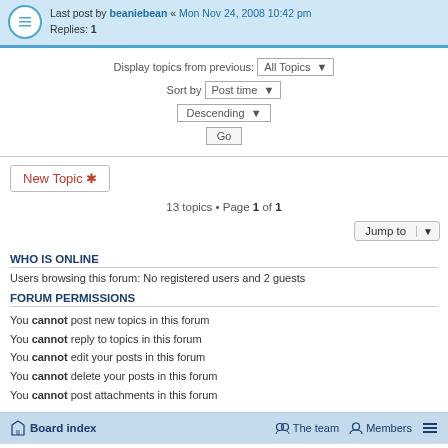Last post by beaniebean « Mon Nov 24, 2008 10:42 pm
Replies: 1
Display topics from previous: All Topics
Sort by Post time
Descending
Go
New Topic *
13 topics • Page 1 of 1
Jump to
WHO IS ONLINE
Users browsing this forum: No registered users and 2 guests
FORUM PERMISSIONS
You cannot post new topics in this forum
You cannot reply to topics in this forum
You cannot edit your posts in this forum
You cannot delete your posts in this forum
You cannot post attachments in this forum
Board index  The team  Members
Powered by phpBB® Forum Software © phpBB Limited